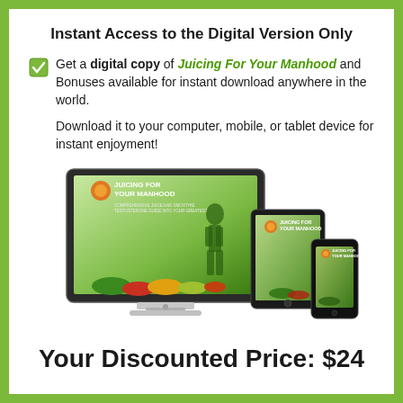Instant Access to the Digital Version Only
Get a digital copy of Juicing For Your Manhood and Bonuses available for instant download anywhere in the world.

Download it to your computer, mobile, or tablet device for instant enjoyment!
[Figure (illustration): iMac computer monitor, tablet, and smartphone all displaying the 'Juicing For Your Manhood' digital product cover with vegetables and a green silhouette.]
Your Discounted Price: $24